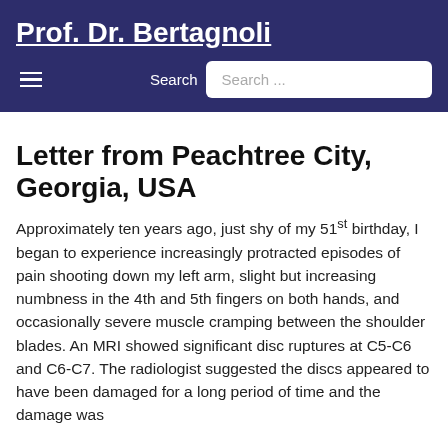Prof. Dr. Bertagnoli
Letter from Peachtree City, Georgia, USA
Approximately ten years ago, just shy of my 51st birthday, I began to experience increasingly protracted episodes of pain shooting down my left arm, slight but increasing numbness in the 4th and 5th fingers on both hands, and occasionally severe muscle cramping between the shoulder blades. An MRI showed significant disc ruptures at C5-C6 and C6-C7. The radiologist suggested the discs appeared to have been damaged for a long period of time and the damage was